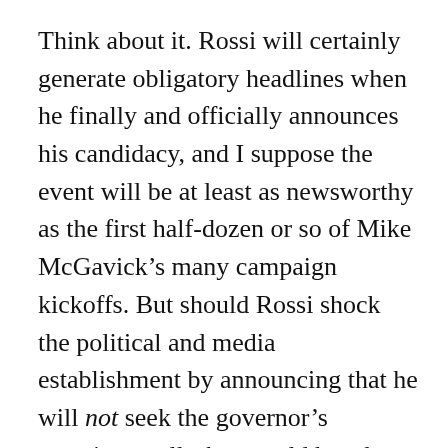Think about it. Rossi will certainly generate obligatory headlines when he finally and officially announces his candidacy, and I suppose the event will be at least as newsworthy as the first half-dozen or so of Mike McGavick’s many campaign kickoffs. But should Rossi shock the political and media establishment by announcing that he will not seek the governor’s mansion, well, that would be a huge story. Modie’s lede acknowledges this on the ground reality. Thomas’ lede does not.
Two newspapers, one governor’s race, two very different takes on Dino Rossi’s intentions.